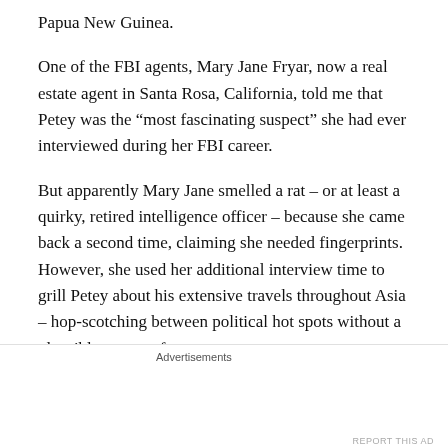Papua New Guinea.
One of the FBI agents, Mary Jane Fryar, now a real estate agent in Santa Rosa, California, told me that Petey was the “most fascinating suspect” she had ever interviewed during her FBI career.
But apparently Mary Jane smelled a rat – or at least a quirky, retired intelligence officer – because she came back a second time, claiming she needed fingerprints. However, she used her additional interview time to grill Petey about his extensive travels throughout Asia – hop-scotching between political hot spots without a plausible means of support.
Advertisements
[Figure (other): Seamless food delivery advertisement banner with pizza image, Seamless logo in red, and ORDER NOW button]